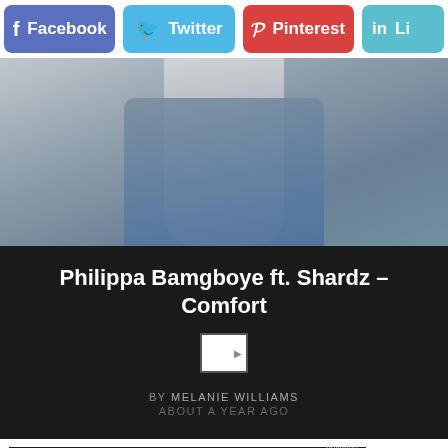[Figure (screenshot): Social media sharing buttons row: Facebook (purple-blue), Twitter (light blue), Pinterest (red), LinkedIn (teal, partially cut off)]
[Figure (photo): Partial photo showing legs in blue jeans and white shirt/top, photographed on grey surface]
Philippa Bamgboye ft. Shardz – Comfort
[Figure (photo): Small broken/unloaded author avatar image thumbnail]
BY MELANIE WILLIAMS
ABOUT A YEAR AGO
[Figure (infographic): Pure Earth advertisement banner: 'We believe the global pollution crisis can be solved.' with tagline and JOIN US call to action, with Pure Earth logo (diamond shape with stacked layers)]